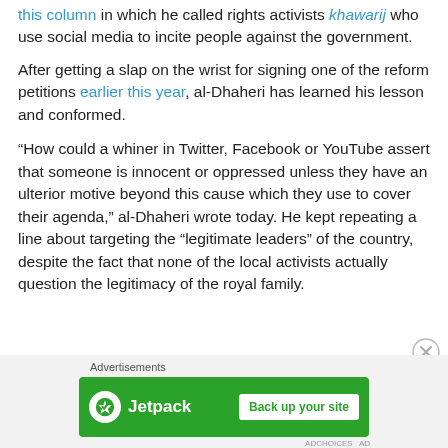this column in which he called rights activists khawarij who use social media to incite people against the government.
After getting a slap on the wrist for signing one of the reform petitions earlier this year, al-Dhaheri has learned his lesson and conformed.
“How could a whiner in Twitter, Facebook or YouTube assert that someone is innocent or oppressed unless they have an ulterior motive beyond this cause which they use to cover their agenda,” al-Dhaheri wrote today. He kept repeating a line about targeting the “legitimate leaders” of the country, despite the fact that none of the local activists actually question the legitimacy of the royal family.
[Figure (other): Jetpack advertisement banner: green background with Jetpack logo and 'Back up your site' button]